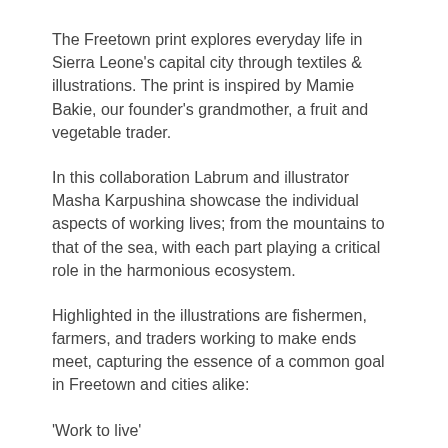The Freetown print explores everyday life in Sierra Leone's capital city through textiles & illustrations. The print is inspired by Mamie Bakie, our founder's grandmother, a fruit and vegetable trader.
In this collaboration Labrum and illustrator Masha Karpushina showcase the individual aspects of working lives; from the mountains to that of the sea, with each part playing a critical role in the harmonious ecosystem.
Highlighted in the illustrations are fishermen, farmers, and traders working to make ends meet, capturing the essence of a common goal in Freetown and cities alike:
'Work to live'
Commitment to Responsible Best Practices
Labrum is committed to responsible best practices and operates on a lean manufacturing basis to minimise unnecessary